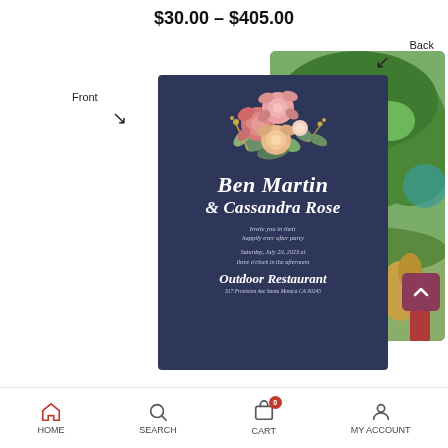$30.00 – $405.00
[Figure (illustration): Wedding invitation product page showing front and back cards. Front card: navy blue with watercolor floral bouquet, script text reading Ben Martin & Cassandra Rose, invite you to their happily ever after party, Saturday July 20, 2023 at three o'clock in the afternoon, Outdoor Restaurant. Back card: outdoor garden photo. Labels Front and Back with arrows. Scroll-to-top button bottom right.]
HOME   SEARCH   CART 0   MY ACCOUNT